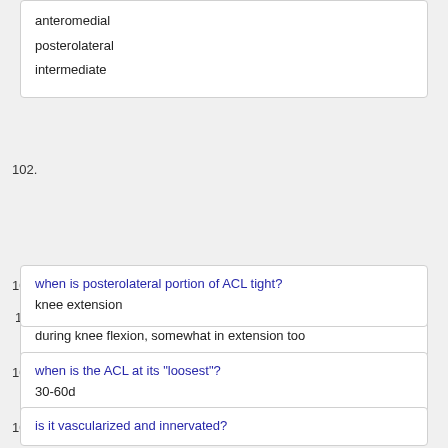anteromedial
posterolateral
intermediate
102. When is the anteromedial portion of the ACL tight?
during knee flexion, somewhat in extension too
103. when is posterolateral portion of ACL tight?
knee extension
104. when is the ACL at its "loosest"?
30-60d
105. is it vascularized and innervated?